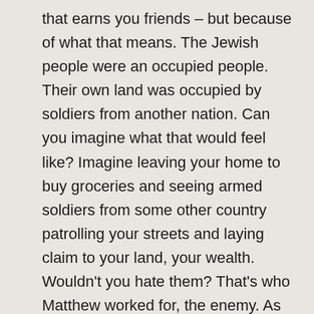that earns you friends – but because of what that means. The Jewish people were an occupied people. Their own land was occupied by soldiers from another nation. Can you imagine what that would feel like? Imagine leaving your home to buy groceries and seeing armed soldiers from some other country patrolling your streets and laying claim to your land, your wealth. Wouldn't you hate them? That's who Matthew worked for, the enemy. As a tax collector his job was to go through your belongings and decide what a fair cut for the Romans should be, and then to take that. He was a sell-out, a collaborator. He was the most distasteful company you could keep, and Jesus loved him and asked him to be part of the family.